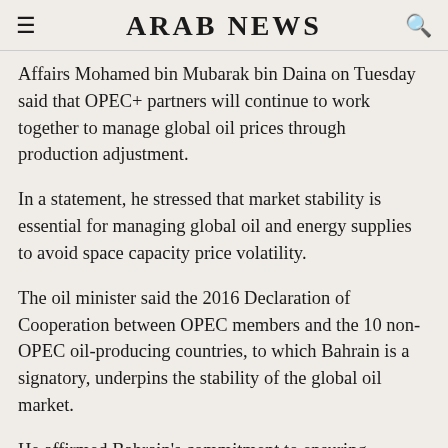ARAB NEWS
Affairs Mohamed bin Mubarak bin Daina on Tuesday said that OPEC+ partners will continue to work together to manage global oil prices through production adjustment.
In a statement, he stressed that market stability is essential for managing global oil and energy supplies to avoid space capacity price volatility.
The oil minister said the 2016 Declaration of Cooperation between OPEC members and the 10 non-OPEC oil-producing countries, to which Bahrain is a signatory, underpins the stability of the global oil market.
He affirmed Bahrain's commitment to ensuring